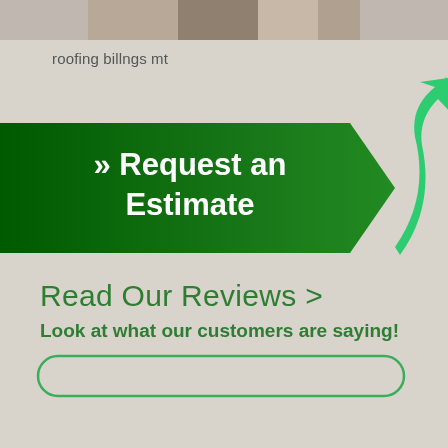[Figure (photo): Photo strip of a roofing scene, partially visible at top of page]
roofing billngs mt
[Figure (infographic): Green arrow-shaped banner with white bold text '» Request an Estimate' and a bright green upward-curving arrow icon on the right]
Read Our Reviews >
Look at what our customers are saying!
[Figure (other): Green-outlined rounded rectangle button, partially visible at bottom of page]